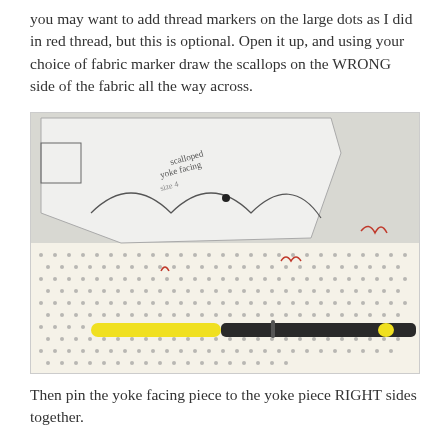you may want to add thread markers on the large dots as I did in red thread, but this is optional. Open it up, and using your choice of fabric marker draw the scallops on the WRONG side of the fabric all the way across.
[Figure (photo): Photo showing a sewing pattern piece labeled 'scalloped yoke facing size 4' placed on polka-dot fabric, with red thread markers visible. A yellow-tipped dark fabric marker/pen lies in front.]
Then pin the yoke facing piece to the yoke piece RIGHT sides together.